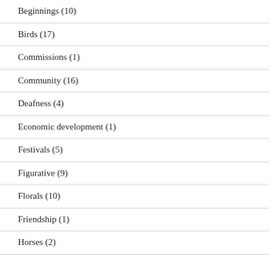Beginnings (10)
Birds (17)
Commissions (1)
Community (16)
Deafness (4)
Economic development (1)
Festivals (5)
Figurative (9)
Florals (10)
Friendship (1)
Horses (2)